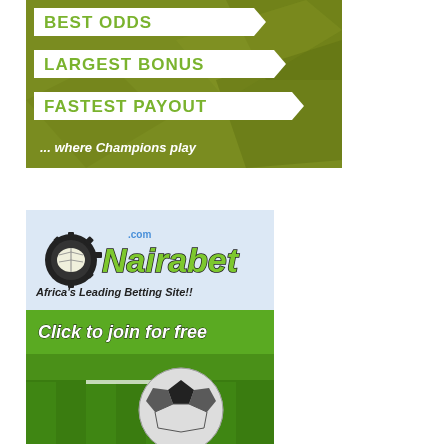[Figure (illustration): Sports betting advertisement banner with olive/yellow-green background featuring three white label bars with text: BEST ODDS, LARGEST BONUS, FASTEST PAYOUT, and tagline '... where Champions play' in italic white text at bottom.]
[Figure (illustration): Nairabet.com advertisement. Shows gear/book logo with green 'Nairabet' brand text and '.com' label. Text reads 'Africa's Leading Betting Site!!' and 'Click to join for free' with a soccer ball on green grass at the bottom.]